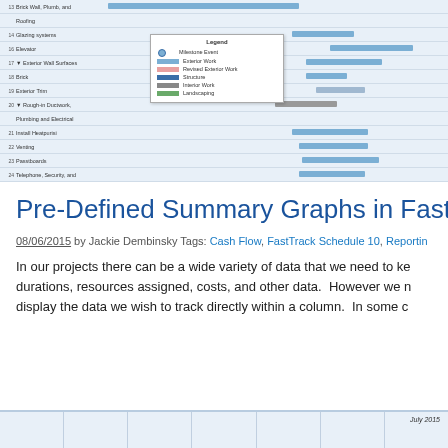[Figure (screenshot): Gantt chart screenshot showing project schedule with tasks including Brick Wall, Roofing, Glazing systems, Elevator, Exterior Wall Surfaces, Rough-in Ductwork, Plumbing and Electrical, Install Heatpurisi, Venting, Passtboards, Telephone Security and Electrical Wiring, Drywall tasks, and Painting tasks. A legend box shows Milestone Event, Exterior Work, Revised Exterior Work, Structure, Interior Work, Landscaping. Bottom rows show Original Estimate Histogram and Revised Estimate Histogram with cost values.]
Pre-Defined Summary Graphs in FastTr
08/06/2015 by Jackie Dembinsky Tags: Cash Flow, FastTrack Schedule 10, Reportin
In our projects there can be a wide variety of data that we need to ke durations, resources assigned, costs, and other data.  However we n display the data we wish to track directly within a column.  In some c
[Figure (screenshot): Bottom partial screenshot of another FastTrack schedule table showing July 2015 label visible]